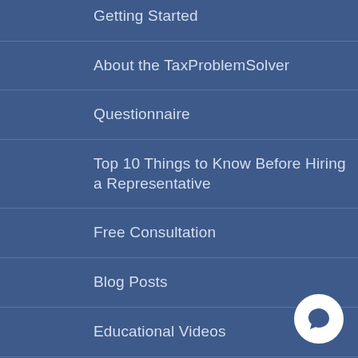Getting Started
About the TaxProblemSolver
Questionnaire
Top 10 Things to Know Before Hiring a Representative
Free Consultation
Blog Posts
Educational Videos
Contact the TaxProblemSolver.com
Privacy Policy